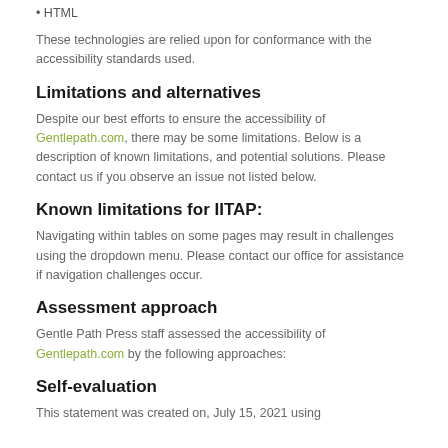HTML
These technologies are relied upon for conformance with the accessibility standards used.
Limitations and alternatives
Despite our best efforts to ensure the accessibility of Gentlepath.com, there may be some limitations. Below is a description of known limitations, and potential solutions. Please contact us if you observe an issue not listed below.
Known limitations for IITAP:
Navigating within tables on some pages may result in challenges using the dropdown menu. Please contact our office for assistance if navigation challenges occur.
Assessment approach
Gentle Path Press staff assessed the accessibility of Gentlepath.com by the following approaches:
Self-evaluation
This statement was created on, July 15, 2021 using